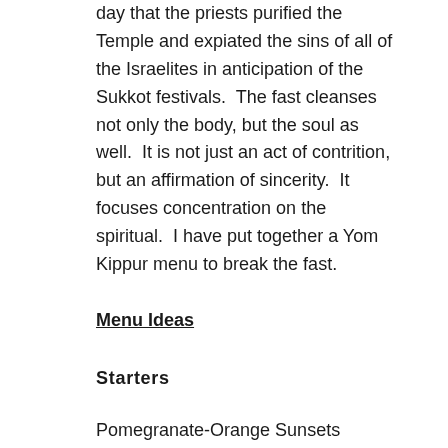day that the priests purified the Temple and expiated the sins of all of the Israelites in anticipation of the Sukkot festivals.  The fast cleanses not only the body, but the soul as well.  It is not just an act of contrition, but an affirmation of sincerity.  It focuses concentration on the spiritual.  I have put together a Yom Kippur menu to break the fast.
Menu Ideas
Starters
Pomegranate-Orange Sunsets